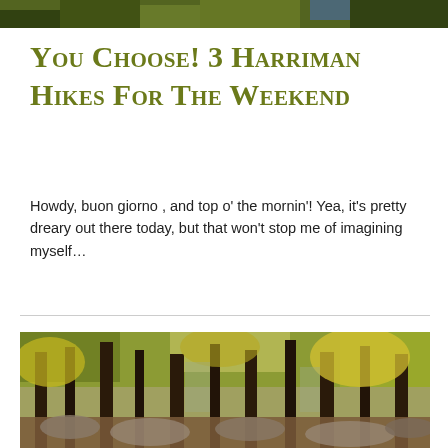[Figure (photo): Partial top of a photo showing outdoor hiking/camping scene, cropped at top of page]
You Choose! 3 Harriman Hikes for the Weekend
Howdy, buon giorno , and top o' the mornin'! Yea, it's pretty dreary out there today, but that won't stop me of imagining myself...
[Figure (photo): Autumn forest scene with tall dark tree trunks and yellow-green foliage among rocks, Harriman State Park]